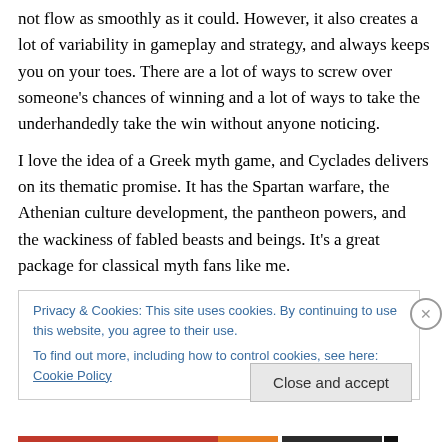not flow as smoothly as it could. However, it also creates a lot of variability in gameplay and strategy, and always keeps you on your toes. There are a lot of ways to screw over someone's chances of winning and a lot of ways to take the underhandedly take the win without anyone noticing.
I love the idea of a Greek myth game, and Cyclades delivers on its thematic promise. It has the Spartan warfare, the Athenian culture development, the pantheon powers, and the wackiness of fabled beasts and beings. It's a great package for classical myth fans like me.
Privacy & Cookies: This site uses cookies. By continuing to use this website, you agree to their use.
To find out more, including how to control cookies, see here: Cookie Policy
Close and accept